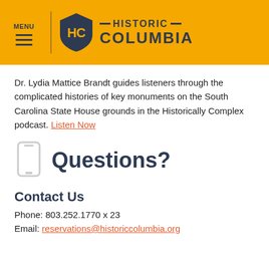MENU | HISTORIC COLUMBIA
Dr. Lydia Mattice Brandt guides listeners through the complicated histories of key monuments on the South Carolina State House grounds in the Historically Complex podcast. Listen Now
[Figure (illustration): Mobile phone icon]
Questions?
Contact Us
Phone: 803.252.1770 x 23
Email: reservations@historiccolumbia.org